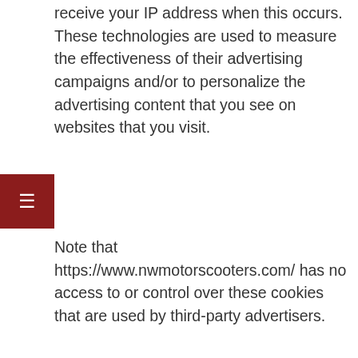receive your IP address when this occurs. These technologies are used to measure the effectiveness of their advertising campaigns and/or to personalize the advertising content that you see on websites that you visit.
Note that https://www.nwmotorscooters.com/ has no access to or control over these cookies that are used by third-party advertisers.
Third Party Privacy Policies
https://www.nwmotorscooters.com/'s Privacy Policy does not apply to other advertisers or websites. Thus, we are advising you to consult the respective Privacy Policies of these third-party ad servers for more detailed information. It